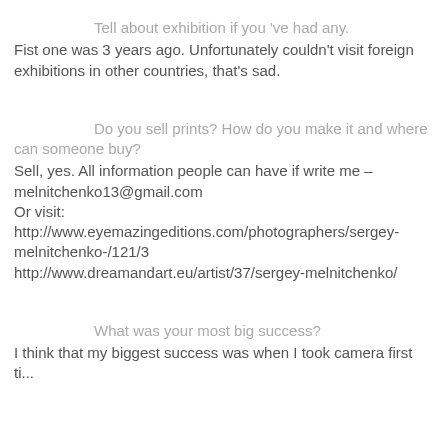Tell about exhibition if you 've had any.
Fist one was 3 years ago. Unfortunately couldn't visit foreign exhibitions in other countries, that's sad.
Do you sell prints? How do you make it and where can someone buy?
Sell, yes. All information people can have if write me – melnitchenko13@gmail.com
Or visit:
http://www.eyemazingeditions.com/photographers/sergey-melnitchenko-/121/3
http://www.dreamandart.eu/artist/37/sergey-melnitchenko/
What was your most big success?
I think that my biggest success was when I took camera first ti...